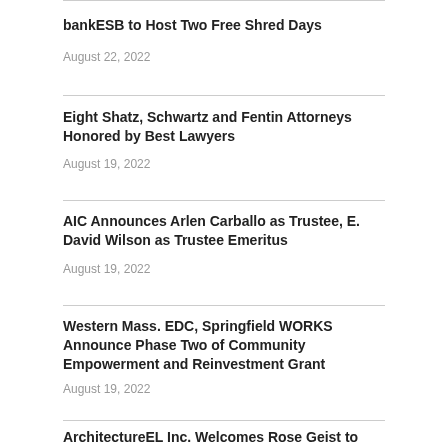bankESB to Host Two Free Shred Days
August 22, 2022
Eight Shatz, Schwartz and Fentin Attorneys Honored by Best Lawyers
August 19, 2022
AIC Announces Arlen Carballo as Trustee, E. David Wilson as Trustee Emeritus
August 19, 2022
Western Mass. EDC, Springfield WORKS Announce Phase Two of Community Empowerment and Reinvestment Grant
August 19, 2022
ArchitectureEL Inc. Welcomes Rose Geist to